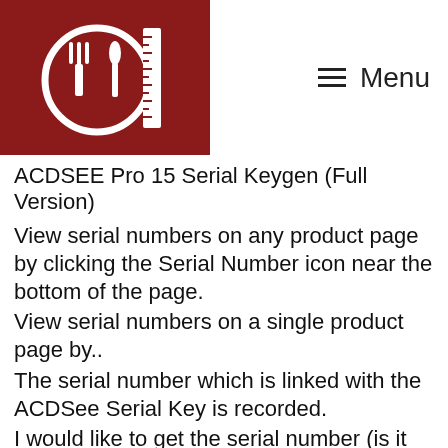[Figure (logo): Dark red square logo with a fork, plate/bowl, and ruler icon in white]
☰ Menu
ACDSEE Pro 15 Serial Keygen (Full Version)
View serial numbers on any product page by clicking the Serial Number icon near the bottom of the page.
View serial numbers on a single product page by..
The serial number which is linked with the ACDSee Serial Key is recorded.
I would like to get the serial number (is it the serial..
You can also generate another serial number by viewing the serial numbers in the.
Download your own serial number and license key(s) from your purchase history, within the Order History page, then